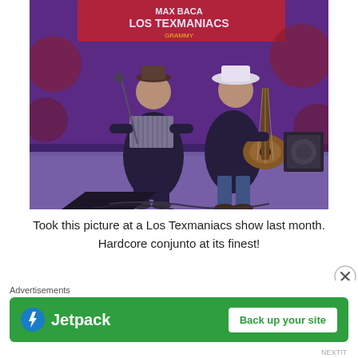[Figure (photo): Two musicians performing on stage under purple/blue lighting. A banner reading 'Los Texmaniacs' is visible in the background. One musician plays an accordion and the other plays a guitar. Stage equipment and amplifiers are visible in the background.]
Took this picture at a Los Texmaniacs show last month. Hardcore conjunto at its finest!
... Reading the...
Advertisements
[Figure (screenshot): Jetpack advertisement banner with green background. Shows Jetpack logo with lightning bolt icon on left and 'Back up your site' button on right.]